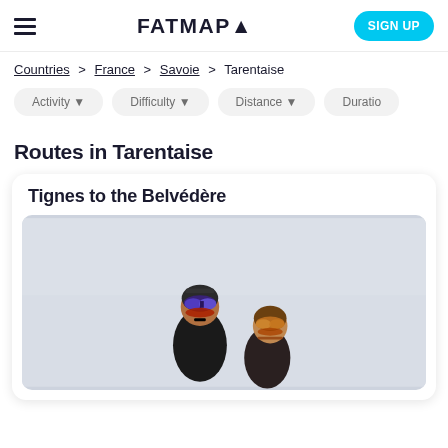FATMAP▲
Countries > France > Savoie > Tarentaise
Activity  Difficulty  Distance  Duratio…
Routes in Tarentaise
Tignes to the Belvédère
[Figure (photo): Two skiers/snowboarders in ski gear including helmets and goggles, photographed outdoors against a grey overcast sky.]